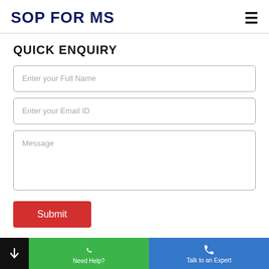SOP FOR MS
QUICK ENQUIRY
Enter your Full Name
Enter your Email ID
Message
Submit
Need Help? | Talk to an Expert